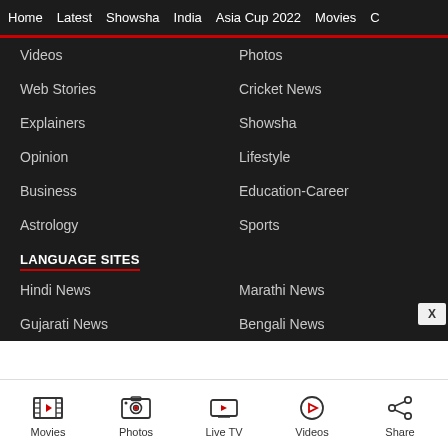Home  Latest  Showsha  India  Asia Cup 2022  Movies  C
Videos
Photos
Web Stories
Cricket News
Explainers
Showsha
Opinion
Lifestyle
Business
Education-Career
Astrology
Sports
LANGUAGE SITES
Hindi News
Marathi News
Gujarati News
Bengali News
Movies  Photos  Live TV  Videos  Share